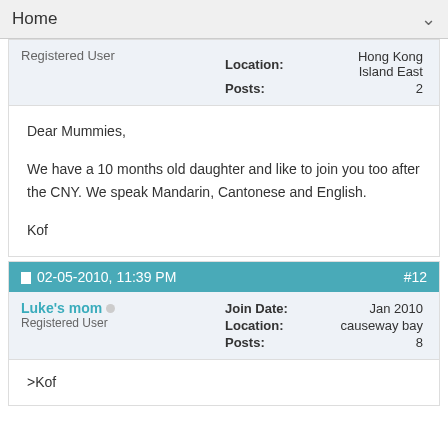Home
Registered User
Location: Hong Kong Island East
Posts: 2
Dear Mummies,

We have a 10 months old daughter and like to join you too after the CNY. We speak Mandarin, Cantonese and English.

Kof
02-05-2010, 11:39 PM  #12
Luke's mom  Registered User
Join Date: Jan 2010
Location: causeway bay
Posts: 8
>Kof